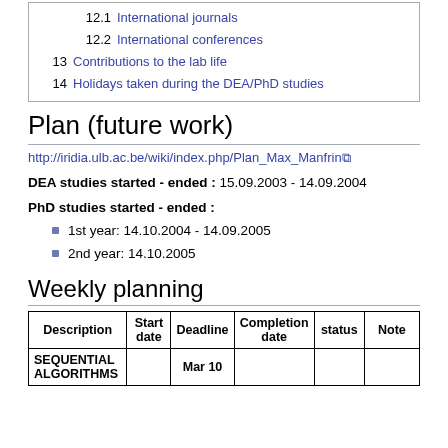12.1 International journals
12.2 International conferences
13 Contributions to the lab life
14 Holidays taken during the DEA/PhD studies
Plan (future work)
http://iridia.ulb.ac.be/wiki/index.php/Plan_Max_Manfrin
DEA studies started - ended : 15.09.2003 - 14.09.2004
PhD studies started - ended :
1st year: 14.10.2004 - 14.09.2005
2nd year: 14.10.2005
Weekly planning
| Description | Start date | Deadline | Completion date | status | Note |
| --- | --- | --- | --- | --- | --- |
| SEQUENTIAL ALGORITHMS |  | Mar 10 |  |  |  |